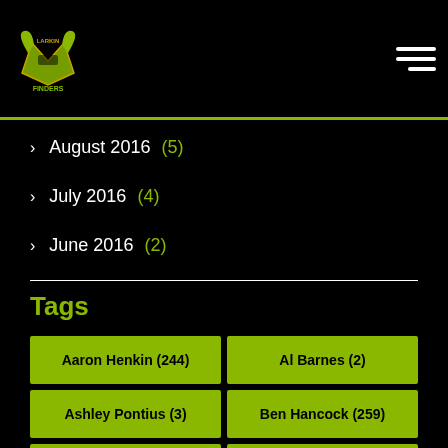LARKIN FINDERS logo and hamburger menu
August 2016 (5)
July 2016 (4)
June 2016 (2)
Tags
Aaron Henkin (244)
Al Barnes (2)
Ashley Pontius (3)
Ben Hancock (259)